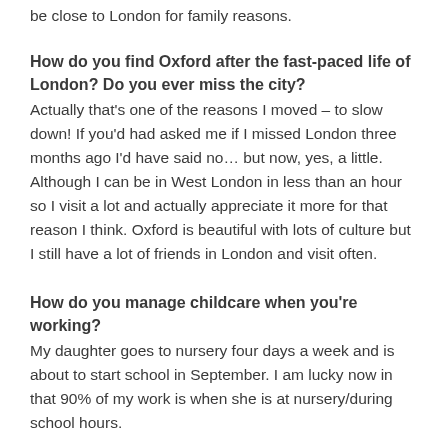be close to London for family reasons.
How do you find Oxford after the fast-paced life of London? Do you ever miss the city?
Actually that's one of the reasons I moved – to slow down! If you'd had asked me if I missed London three months ago I'd have said no… but now, yes, a little. Although I can be in West London in less than an hour so I visit a lot and actually appreciate it more for that reason I think. Oxford is beautiful with lots of culture but I still have a lot of friends in London and visit often.
How do you manage childcare when you're working?
My daughter goes to nursery four days a week and is about to start school in September. I am lucky now in that 90% of my work is when she is at nursery/during school hours.